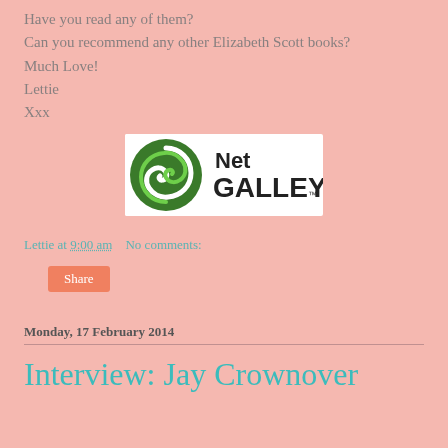Have you read any of them?
Can you recommend any other Elizabeth Scott books?
Much Love!
Lettie
Xxx
[Figure (logo): NetGalley logo — green swirl icon with 'Net GALLEY' text on white background]
Lettie at 9:00 am    No comments:
Share
Monday, 17 February 2014
Interview: Jay Crownover